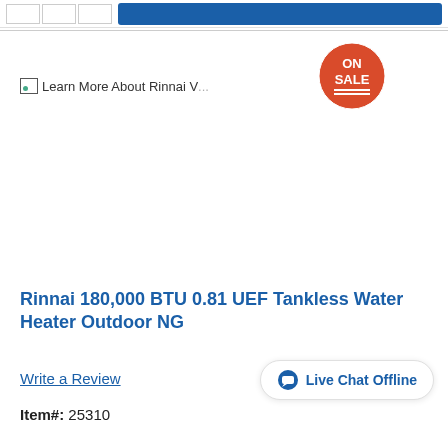[Figure (screenshot): Top navigation bar with input cells and a blue button]
[Figure (other): ON SALE circular badge in orange/red with white text and double underline decoration]
[Figure (other): Broken image placeholder with text: Learn More About Rinnai V...]
Rinnai 180,000 BTU 0.81 UEF Tankless Water Heater Outdoor NG
Write a Review
Live Chat Offline
Item#: 25310